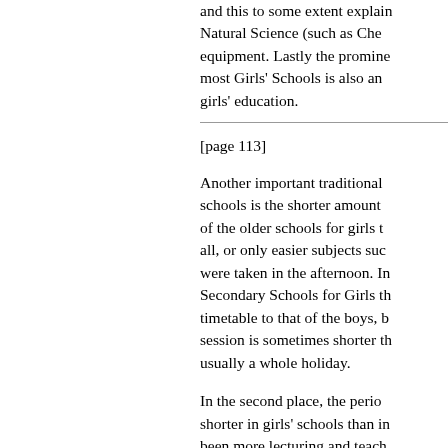and this to some extent explains Natural Science (such as Chemistry) equipment. Lastly the prominence most Girls' Schools is also an girls' education.
[page 113]
Another important traditional schools is the shorter amount of of the older schools for girls all, or only easier subjects such were taken in the afternoon. In Secondary Schools for Girls the timetable to that of the boys, but session is sometimes shorter than usually a whole holiday.
In the second place, the period shorter in girls' schools than in been more lecturing and teaching the girls in school under the su tendency on the part of some m to which many witnesses drew